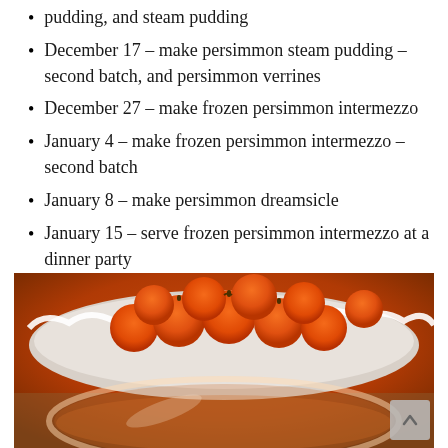pudding, and steam pudding
December 17 – make persimmon steam pudding – second batch, and persimmon verrines
December 27 – make frozen persimmon intermezzo
January 4 – make frozen persimmon intermezzo – second batch
January 8 – make persimmon dreamsicle
January 15 – serve frozen persimmon intermezzo at a dinner party
[Figure (photo): Orange persimmons in a white ceramic wavy-edged bowl, with a glass bowl partially visible in the foreground, warm orange-toned photo]